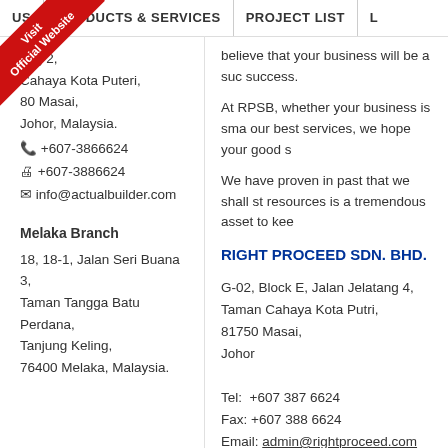US | PRODUCTS & SERVICES | PROJECT LIST | L
[Figure (illustration): Red corner ribbon/badge with text 'Visit Official Website']
ang 2,
Cahaya Kota Puteri,
80 Masai,
Johor, Malaysia.
+607-3866624
+607-3886624
info@actualbuilder.com
Melaka Branch
18, 18-1, Jalan Seri Buana 3,
Taman Tangga Batu Perdana,
Tanjung Keling,
76400 Melaka, Malaysia.
believe that your business will be a suc success.
At RPSB, whether your business is sma our best services, we hope your good s
We have proven in past that we shall st resources is a tremendous asset to kee
RIGHT PROCEED SDN. BHD.
G-02, Block E, Jalan Jelatang 4,
Taman Cahaya Kota Putri,
81750 Masai,
Johor
Tel:  +607 387 6624
Fax: +607 388 6624
Email: admin@rightproceed.com
Person to contact:
Ms.Pang